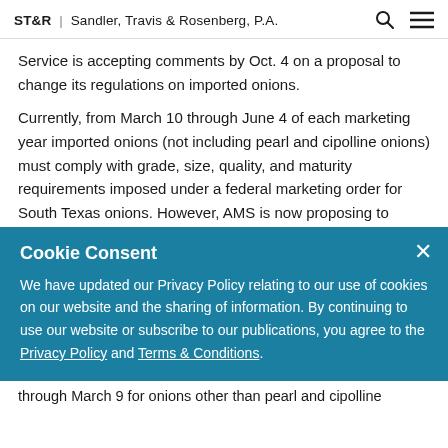ST&R | Sandler, Travis & Rosenberg, P.A.
Service is accepting comments by Oct. 4 on a proposal to change its regulations on imported onions.
Currently, from March 10 through June 4 of each marketing year imported onions (not including pearl and cipolline onions) must comply with grade, size, quality, and maturity requirements imposed under a federal marketing order for South Texas onions. However, AMS is now proposing to
Cookie Consent
We have updated our Privacy Policy relating to our use of cookies on our website and the sharing of information. By continuing to use our website or subscribe to our publications, you agree to the Privacy Policy and Terms & Conditions.
through March 9 for onions other than pearl and cipolline